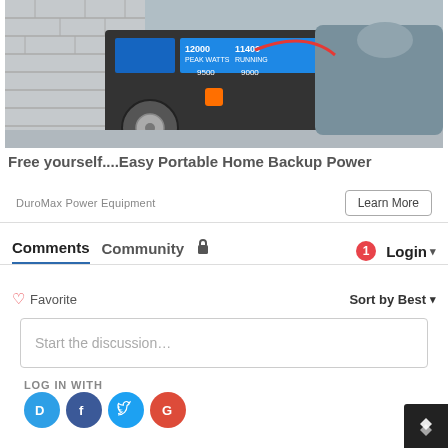[Figure (photo): Photo of a DuroMax portable generator with large wheels, blue body with control panel showing 12000 and 11400 watt labels, person kneeling beside it on a concrete surface near a brick wall.]
Free yourself....Easy Portable Home Backup Power
DuroMax Power Equipment
Learn More
Comments
Community
Login
Favorite
Sort by Best
Start the discussion…
LOG IN WITH